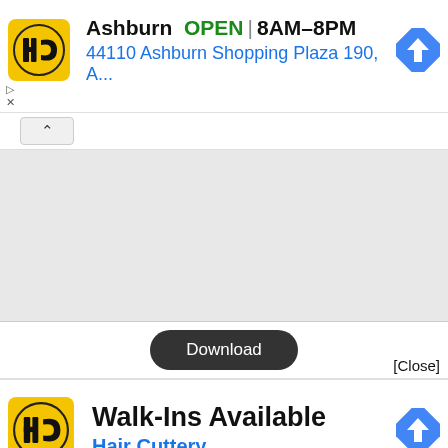[Figure (screenshot): Hair Cuttery ad banner: logo (yellow square with HC), text 'Ashburn OPEN | 8AM–8PM' and address '44110 Ashburn Shopping Plaza 190, A...' with blue navigation arrow icon, and small ad meta icons (play triangle, X)]
[Figure (screenshot): Collapse/chevron-up button bar]
[Figure (screenshot): Gray map area (blank/loading map)]
[Figure (screenshot): Download button (dark pill-shaped) and [Close] link]
[Figure (screenshot): Hair Cuttery ad banner: logo (yellow square with HC), text 'Walk-Ins Available' and 'Hair Cuttery' with blue navigation arrow icon, and small ad meta icons (play triangle, X)]
[Figure (screenshot): Bottom reddish-brown strip (partially visible image)]